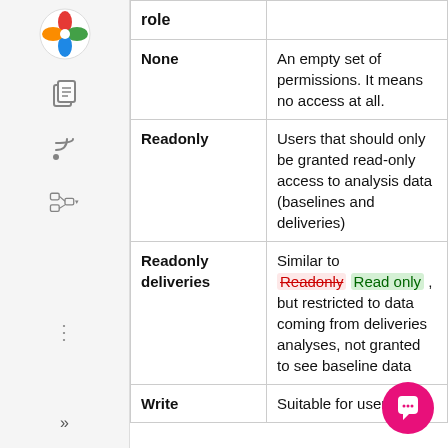| role |  |
| --- | --- |
| None | An empty set of permissions. It means no access at all. |
| Readonly | Users that should only be granted read-only access to analysis data (baselines and deliveries) |
| Readonly deliveries | Similar to Readonly Read only , but restricted to data coming from deliveries analyses, not granted to see baseline data |
| Write | Suitable for users |